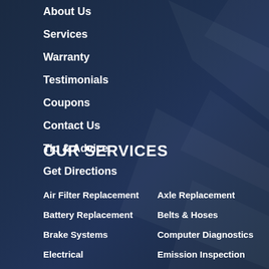About Us
Services
Warranty
Testimonials
Coupons
Contact Us
Tip & Advice
Get Directions
OUR SERVICES
Air Filter Replacement
Axle Replacement
Battery Replacement
Belts & Hoses
Brake Systems
Computer Diagnostics
Electrical
Emission Inspection
Exhaust System
Fuel Injection
General Maintenance
Light Replacement